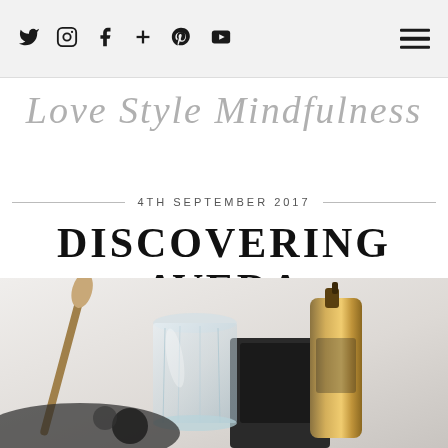Social nav icons: Twitter, Instagram, Facebook, Google+, Pinterest, YouTube | Hamburger menu
Love Style Mindfulness
4TH SEPTEMBER 2017
DISCOVERING AVEDA
[Figure (photo): Flat lay photo of beauty products including a glass tumbler and gold spray bottle with dark background elements on a white surface]